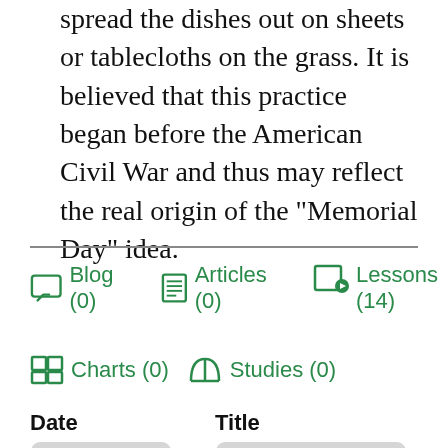spread the dishes out on sheets or tablecloths on the grass. It is believed that this practice began before the American Civil War and thus may reflect the real origin of the "Memorial Day" idea.
Blog (0)   Articles (0)   Lessons (14)   Charts (0)   Studies (0)
| Date | Title |
| --- | --- |